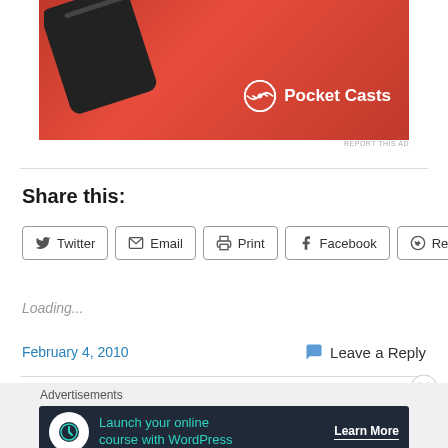[Figure (photo): Pocket Casts advertisement banner showing a red phone device and the Pocket Casts logo on a red background]
REPORT THIS AD
Share this:
Twitter
Email
Print
Facebook
Reddit
Loading...
February 4, 2010
Leave a Reply
Advertisements
[Figure (photo): Advertisement banner: Launch your online course with WordPress — Learn More button, dark background with teal text and white circle icon]